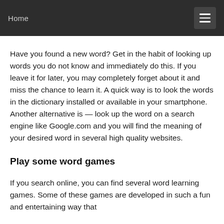Home
Have you found a new word? Get in the habit of looking up words you do not know and immediately do this. If you leave it for later, you may completely forget about it and miss the chance to learn it. A quick way is to look the words in the dictionary installed or available in your smartphone. Another alternative is — look up the word on a search engine like Google.com and you will find the meaning of your desired word in several high quality websites.
Play some word games
If you search online, you can find several word learning games. Some of these games are developed in such a fun and entertaining way that